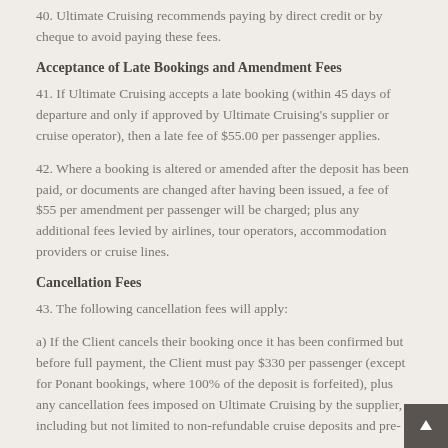40. Ultimate Cruising recommends paying by direct credit or by cheque to avoid paying these fees.
Acceptance of Late Bookings and Amendment Fees
41. If Ultimate Cruising accepts a late booking (within 45 days of departure and only if approved by Ultimate Cruising's supplier or cruise operator), then a late fee of $55.00 per passenger applies.
42. Where a booking is altered or amended after the deposit has been paid, or documents are changed after having been issued, a fee of $55 per amendment per passenger will be charged; plus any additional fees levied by airlines, tour operators, accommodation providers or cruise lines.
Cancellation Fees
43. The following cancellation fees will apply:
a) If the Client cancels their booking once it has been confirmed but before full payment, the Client must pay $330 per passenger (except for Ponant bookings, where 100% of the deposit is forfeited), plus any cancellation fees imposed on Ultimate Cruising by the supplier, including but not limited to non-refundable cruise deposits and pre-